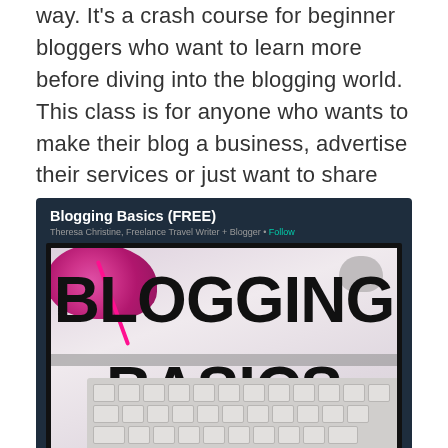way. It's a crash course for beginner bloggers who want to learn more before diving into the blogging world. This class is for anyone who wants to make their blog a business, advertise their services or just want to share their life with the world.
[Figure (screenshot): Screenshot of a Blogging Basics (FREE) course card with dark navy header showing title 'Blogging Basics (FREE)' and subtitle 'Theresa Christine, Freelance Travel Writer + Blogger • Follow', and a course thumbnail image showing 'BLOGGING BASICS' text in large bold letters over a photo of yarn and a keyboard]